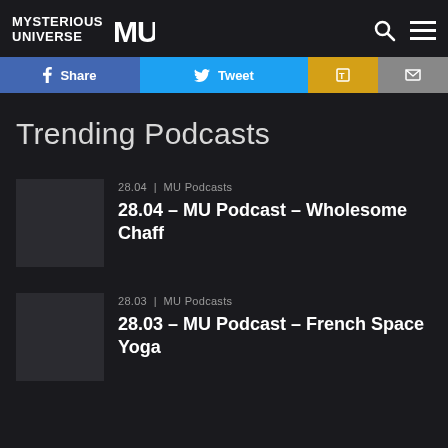MYSTERIOUS UNIVERSE MU
[Figure (screenshot): Social sharing buttons: Share (Facebook blue), Tweet (Twitter light blue), Tumblr (gold/yellow), Email (grey)]
Trending Podcasts
28.04 | MU Podcasts
28.04 – MU Podcast – Wholesome Chaff
28.03 | MU Podcasts
28.03 – MU Podcast – French Space Yoga